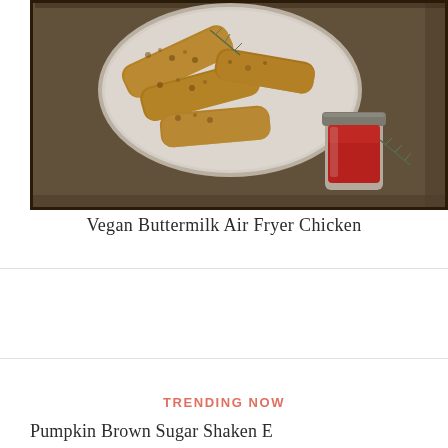[Figure (photo): Food photo showing breaded fried chicken strips/tenders in a white round dish on a metal baking tray, with a small jar of red dipping sauce (ketchup) beside it, on a rustic dark background.]
Vegan Buttermilk Air Fryer Chicken
TRENDING NOW
Pumpkin Brown Sugar Shaken E...